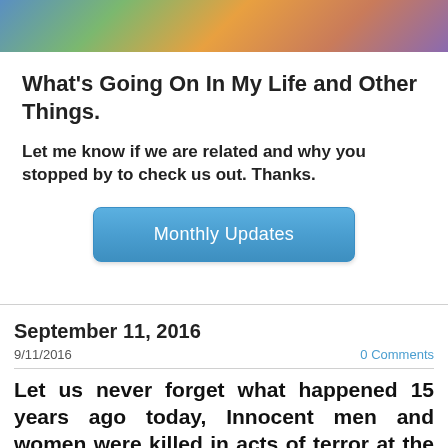[Figure (photo): Colorful banner image at top of page with mixed colors]
What's Going On In My Life and Other Things.
Let me know if we are related and why you stopped by to check us out.  Thanks.
[Figure (other): Blue button labeled Monthly Updates]
September 11, 2016
9/11/2016
0 Comments
Let us never forget what happened 15 years ago today,  Innocent men and women were killed in acts of terror at the two towers of the WTC, the Pentagon and a rural field